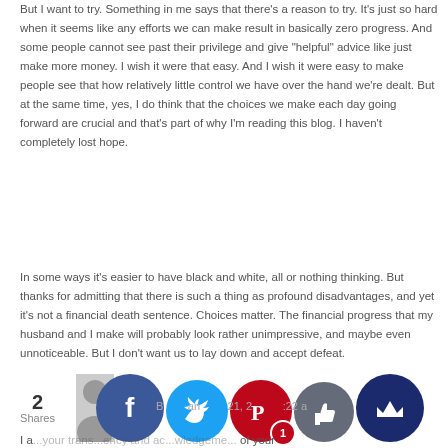But I want to try. Something in me says that there's a reason to try. It's just so hard when it seems like any efforts we can make result in basically zero progress. And some people cannot see past their privilege and give "helpful" advice like just make more money. I wish it were that easy. And I wish it were easy to make people see that how relatively little control we have over the hand we're dealt. But at the same time, yes, I do think that the choices we make each day going forward are crucial and that's part of why I'm reading this blog. I haven't completely lost hope.
In some ways it's easier to have black and white, all or nothing thinking. But thanks for admitting that there is such a thing as profound disadvantages, and yet it's not a financial death sentence. Choices matter. The financial progress that my husband and I make will probably look rather unimpressive, and maybe even unnoticeable. But I don't want us to lay down and accept defeat.
Reply
I a... your trans...ency and ac...wledgeme... of your